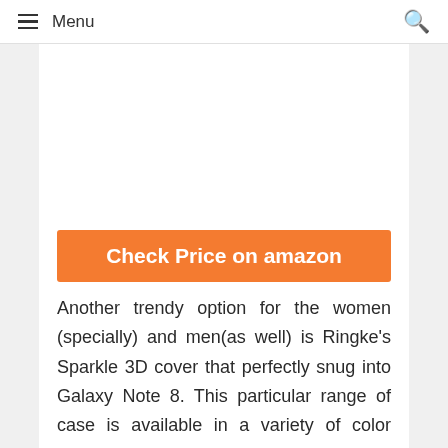Menu
[Figure (other): Advertisement placeholder image area (white box)]
Check Price on amazon
Another trendy option for the women (specially) and men(as well) is Ringke's Sparkle 3D cover that perfectly snug into Galaxy Note 8. This particular range of case is available in a variety of color options and some of them are really feminine but absolutely trendy. The classy black, smoky black and rose gold are also present for both men and women. The glittery and funky ones